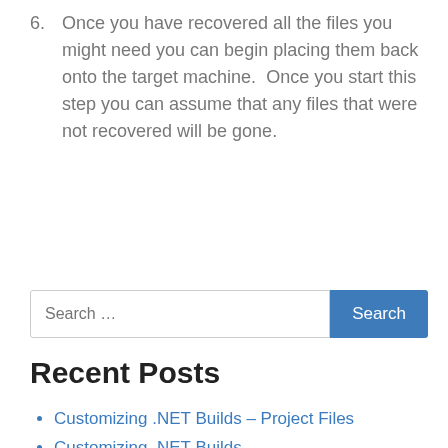6. Once you have recovered all the files you might need you can begin placing them back onto the target machine.  Once you start this step you can assume that any files that were not recovered will be gone.
Search …
Recent Posts
Customizing .NET Builds – Project Files
Customizing .NET Builds
Judging a Book By Its Cover